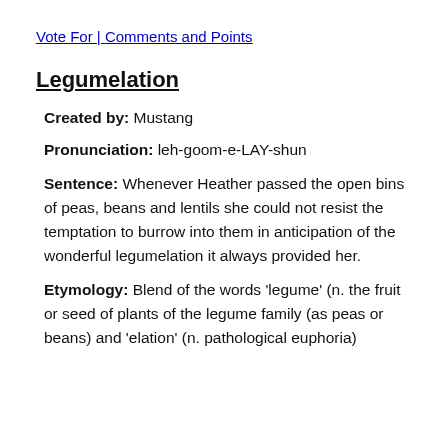Vote For | Comments and Points
Legumelation
Created by: Mustang
Pronunciation: leh-goom-e-LAY-shun
Sentence: Whenever Heather passed the open bins of peas, beans and lentils she could not resist the temptation to burrow into them in anticipation of the wonderful legumelation it always provided her.
Etymology: Blend of the words 'legume' (n. the fruit or seed of plants of the legume family (as peas or beans) and 'elation' (n. pathological euphoria)